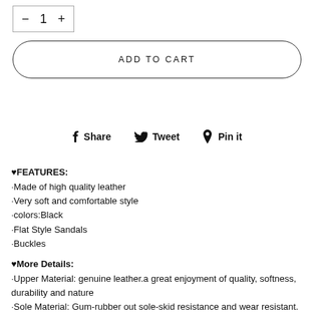— 1 +
ADD TO CART
Share   Tweet   Pin it
♥FEATURES:
·Made of high quality leather
·Very soft and comfortable style
·colors:Black
·Flat Style Sandals
·Buckles
♥More Details:
·Upper Material: genuine leather.a great enjoyment of quality, softness, durability and nature
·Sole Material: Gum-rubber out sole-skid resistance and wear resistant.